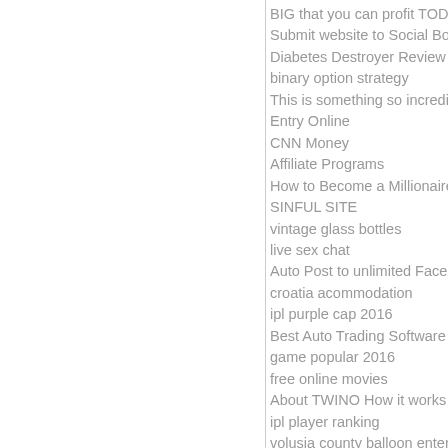BIG that you can profit TODAY
Submit website to Social Bookma...
Diabetes Destroyer Review
binary option strategy
This is something so incredibly
Entry Online
CNN Money
Affiliate Programs
How to Become a Millionaire by A...
SINFUL SITE
vintage glass bottles
live sex chat
Auto Post to unlimited Facebook...
croatia acommodation
ipl purple cap 2016
Best Auto Trading Software Best...
game popular 2016
free online movies
About TWINO How it works
ipl player ranking
volusia county balloon entertaine...
Get $50 To Start Trading
get your $35 000 a week salary s...
กกกกกกกกกกกกกกกกกกกกกกก
vegan bodybuilding
Your Income Advisor
malianta
Stocks CFDsBrexit effect
Girls Pics
Top ways to make money online
free movies online